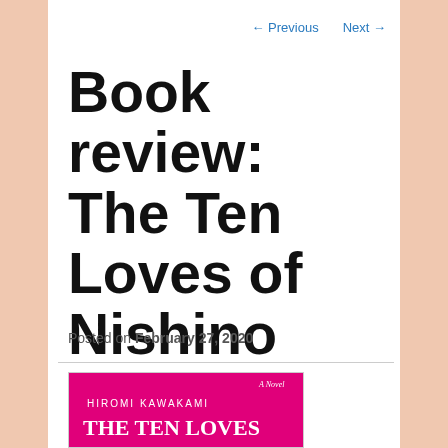← Previous   Next →
Book review: The Ten Loves of Nishino
Posted on February 27, 2020
[Figure (photo): Book cover of 'The Ten Loves of Nishino' by Hiromi Kawakami. Bright magenta/pink background with white text reading 'A Novel', 'HIROMI KAWAKAMI', 'THE TEN LOVES']